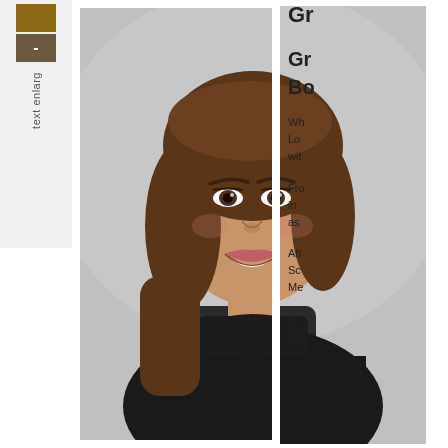[Figure (photo): Professional headshot of a woman with shoulder-length brown hair, smiling, wearing a black turtleneck sweater, against a gray studio background]
Gr
Gr
Bo
Wh Lo wit
Fro in as
Aft Sc Me
In ow